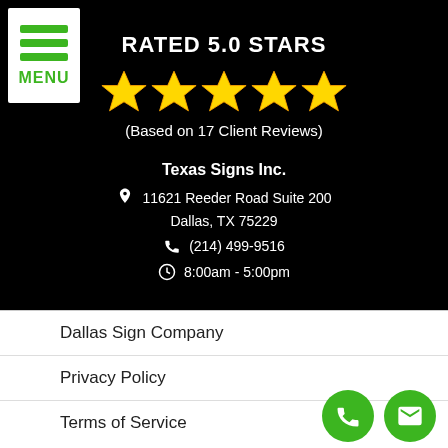[Figure (logo): Menu button with green horizontal lines and MENU label on white background]
RATED 5.0 STARS
[Figure (illustration): Five gold star rating icons]
(Based on 17 Client Reviews)
Texas Signs Inc.
11621 Reeder Road Suite 200
Dallas, TX 75229
(214) 499-9516
8:00am - 5:00pm
Dallas Sign Company
Privacy Policy
Terms of Service